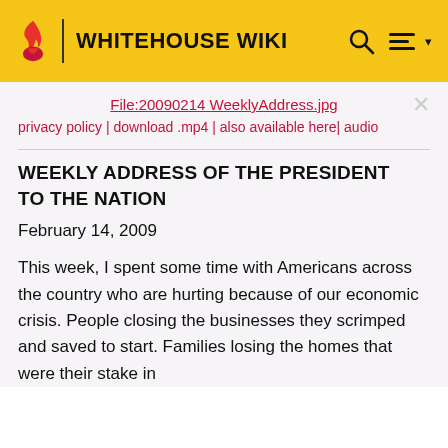WHITEHOUSE WIKI
File:20090214 WeeklyAddress.jpg
privacy policy | download .mp4 | also available here| audio
WEEKLY ADDRESS OF THE PRESIDENT TO THE NATION
February 14, 2009
This week, I spent some time with Americans across the country who are hurting because of our economic crisis. People closing the businesses they scrimped and saved to start. Families losing the homes that were their stake in